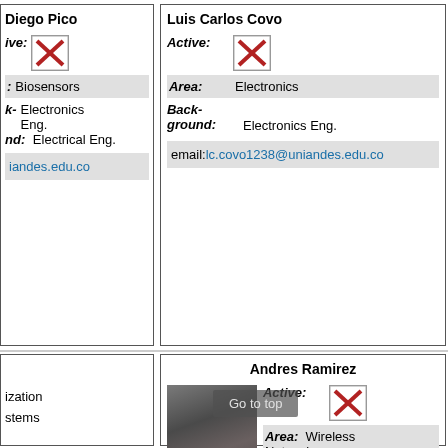Diego Pico
| Active: | [X] |
| Area: | Biosensors |
| Background: | Electronics Eng. / Electrical Eng. |
| email: | ...iandes.edu.co |
Luis Carlos Covo
| Active: | [X] |
| Area: | Electronics |
| Background: | Electronics Eng. |
| email: | lc.covo1238@uniandes.edu.co |
Andres Ramirez
| Active: | [X] |
| Area: | Wireless Networks |
Go to top